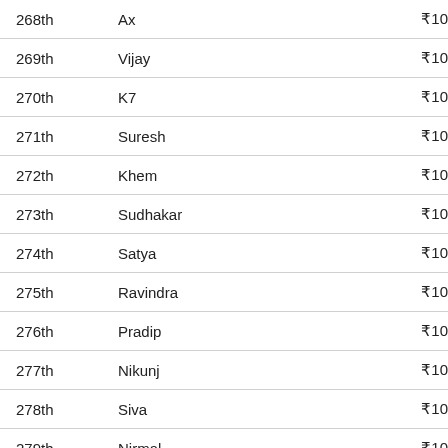| Rank | Name | Amount |
| --- | --- | --- |
| 268th | Ax | ₹10 |
| 269th | Vijay | ₹10 |
| 270th | K7 | ₹10 |
| 271th | Suresh | ₹10 |
| 272th | Khem | ₹10 |
| 273th | Sudhakar | ₹10 |
| 274th | Satya | ₹10 |
| 275th | Ravindra | ₹10 |
| 276th | Pradip | ₹10 |
| 277th | Nikunj | ₹10 |
| 278th | Siva | ₹10 |
| 279th | Nirmal | ₹10 |